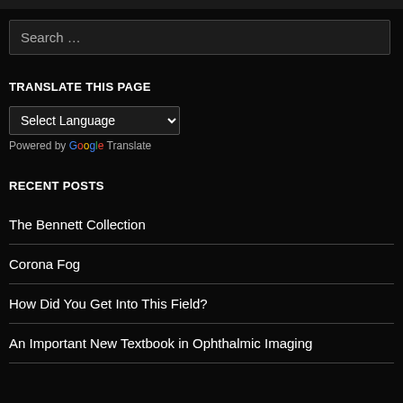Search …
TRANSLATE THIS PAGE
Select Language
Powered by Google Translate
RECENT POSTS
The Bennett Collection
Corona Fog
How Did You Get Into This Field?
An Important New Textbook in Ophthalmic Imaging